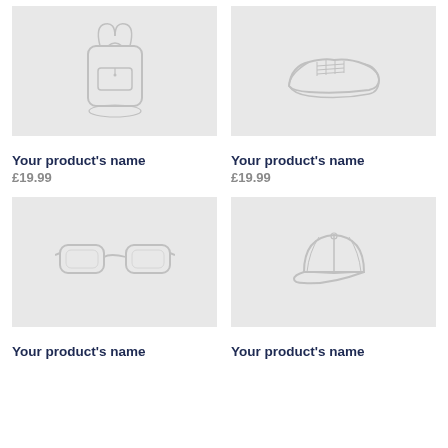[Figure (illustration): Placeholder product image of a backpack on light gray background]
[Figure (illustration): Placeholder product image of a sneaker/shoe on light gray background]
Your product's name
£19.99
Your product's name
£19.99
[Figure (illustration): Placeholder product image of sunglasses on light gray background]
[Figure (illustration): Placeholder product image of a baseball cap on light gray background]
Your product's name
Your product's name